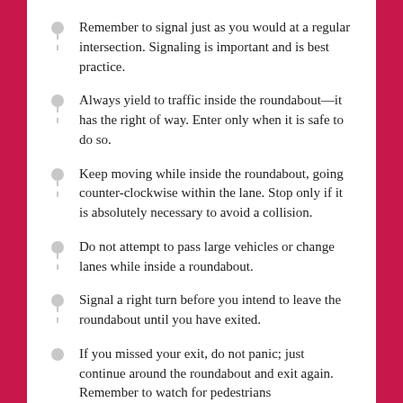Remember to signal just as you would at a regular intersection. Signaling is important and is best practice.
Always yield to traffic inside the roundabout—it has the right of way. Enter only when it is safe to do so.
Keep moving while inside the roundabout, going counter-clockwise within the lane. Stop only if it is absolutely necessary to avoid a collision.
Do not attempt to pass large vehicles or change lanes while inside a roundabout.
Signal a right turn before you intend to leave the roundabout until you have exited.
If you missed your exit, do not panic; just continue around the roundabout and exit again. Remember to watch for pedestrians…